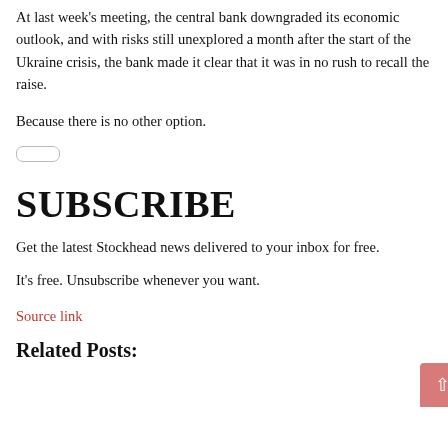At last week's meeting, the central bank downgraded its economic outlook, and with risks still unexplored a month after the start of the Ukraine crisis, the bank made it clear that it was in no rush to recall the raise.
Because there is no other option.
SUBSCRIBE
Get the latest Stockhead news delivered to your inbox for free.
It's free. Unsubscribe whenever you want.
Source link
Related Posts: